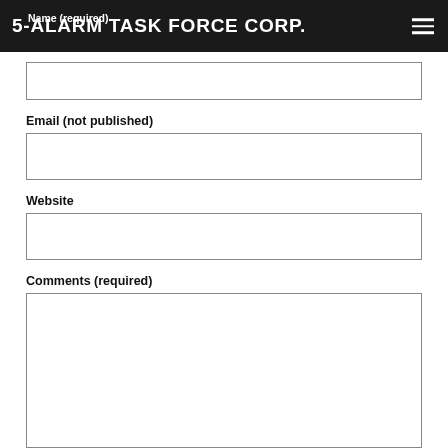5-ALARM TASK FORCE CORP.
Name (required)
Email (not published)
Website
Comments (required)